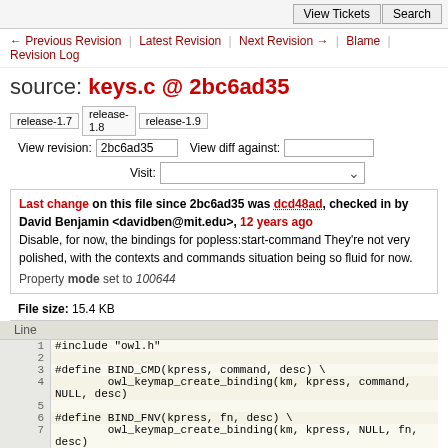View Tickets | Search
← Previous Revision | Latest Revision | Next Revision → | Blame | Revision Log
source: keys.c @ 2bc6ad35
release-1.7  release-1.8  release-1.9   View revision: 2bc6ad35   View diff against:   Visit:
Last change on this file since 2bc6ad35 was dcd48ad, checked in by David Benjamin <davidben@mit.edu>, 12 years ago
Disable, for now, the bindings for popless:start-command They're not very polished, with the contexts and commands situation being so fluid for now.
Property mode set to 100644
File size: 15.4 KB
| Line |  |
| --- | --- |
| 1 | #include "owl.h" |
| 2 |  |
| 3 | #define BIND_CMD(kpress, command, desc) \ |
| 4 |         owl_keymap_create_binding(km, kpress, command,
NULL, desc) |
| 5 |  |
| 6 | #define BIND_FNV(kpress, fn, desc) \ |
| 7 |         owl_keymap_create_binding(km, kpress, NULL, fn,
desc) |
| 8 |  |
| 9 |  |
| 10 | /* sets up the default keymaps */ |
| 11 | void owl_keys_setup_keymaps(owl_keyhandler *kh) { |
| 12 |   owl_keymap *km, *km_global, *km_editwin, *km_mainwin, |
| 13 |     *km_ew_multi, *km_ew_onel, *km_viewwin; |
| 14 |  |